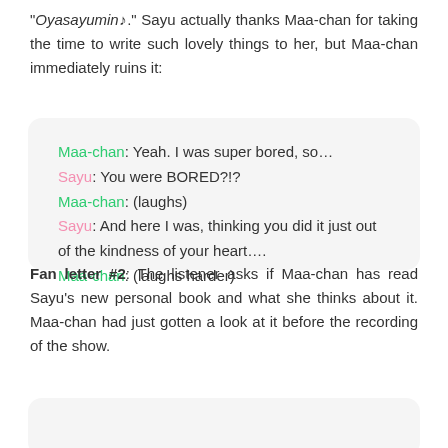"Oyasayumin♪." Sayu actually thanks Maa-chan for taking the time to write such lovely things to her, but Maa-chan immediately ruins it:
Maa-chan: Yeah. I was super bored, so… Sayu: You were BORED?!? Maa-chan: (laughs) Sayu: And here I was, thinking you did it just out of the kindness of your heart…. Maa-chan: (laughs harder)
Fan letter #2: The listener asks if Maa-chan has read Sayu's new personal book and what she thinks about it. Maa-chan had just gotten a look at it before the recording of the show.